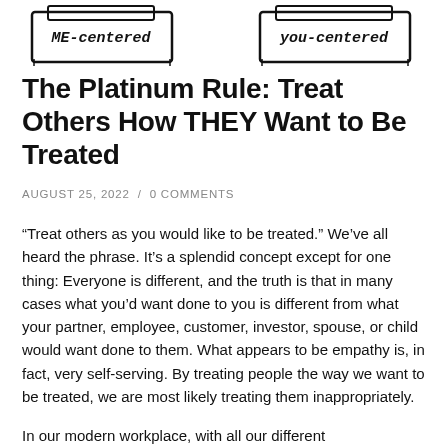[Figure (illustration): Two hand-drawn sketch book/label illustrations at the top of the page. Left one reads 'ME-centered' in handwritten style, right one reads 'you-centered' in handwritten style. Both have a book/stamp-like border.]
The Platinum Rule: Treat Others How THEY Want to Be Treated
AUGUST 25, 2022  /  0 COMMENTS
“Treat others as you would like to be treated.” We’ve all heard the phrase. It’s a splendid concept except for one thing: Everyone is different, and the truth is that in many cases what you’d want done to you is different from what your partner, employee, customer, investor, spouse, or child would want done to them. What appears to be empathy is, in fact, very self-serving. By treating people the way we want to be treated, we are most likely treating them inappropriately.
In our modern workplace, with all our different